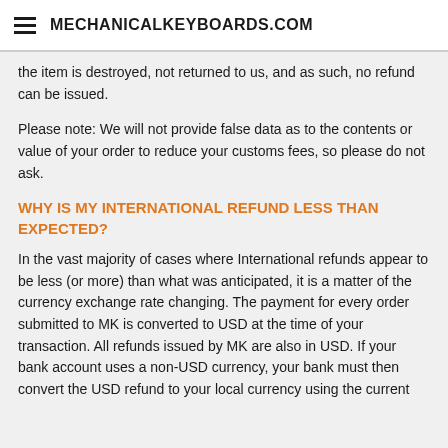MECHANICALKEYBOARDS.COM
the item is destroyed, not returned to us, and as such, no refund can be issued.
Please note: We will not provide false data as to the contents or value of your order to reduce your customs fees, so please do not ask.
WHY IS MY INTERNATIONAL REFUND LESS THAN EXPECTED?
In the vast majority of cases where International refunds appear to be less (or more) than what was anticipated, it is a matter of the currency exchange rate changing. The payment for every order submitted to MK is converted to USD at the time of your transaction. All refunds issued by MK are also in USD. If your bank account uses a non-USD currency, your bank must then convert the USD refund to your local currency using the current